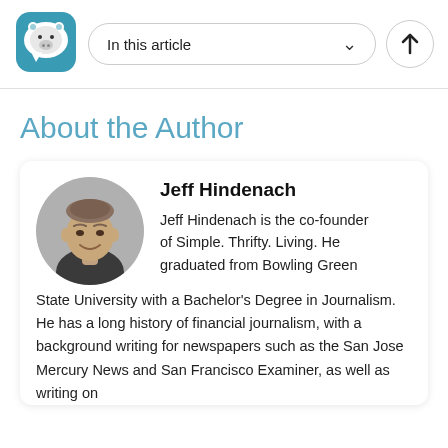[Figure (logo): App logo: rounded square with teal/blue background and white pig face speech bubble icon]
In this article
About the Author
[Figure (photo): Black and white circular headshot photo of Jeff Hindenach, a man smiling]
Jeff Hindenach
Jeff Hindenach is the co-founder of Simple. Thrifty. Living. He graduated from Bowling Green State University with a Bachelor's Degree in Journalism. He has a long history of financial journalism, with a background writing for newspapers such as the San Jose Mercury News and San Francisco Examiner, as well as writing on